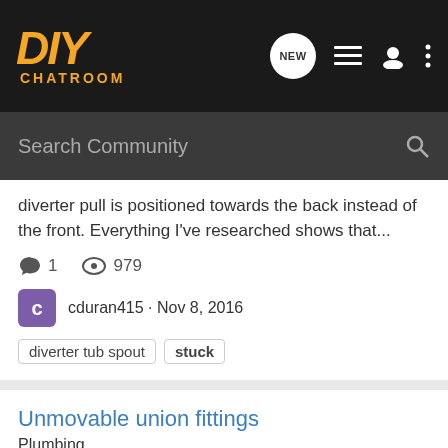DIY CHATROOM
Search Community
diverter pull is positioned towards the back instead of the front. Everything I've researched shows that...
1  979
cduran415 · Nov 8, 2016
diverter tub spout  stuck
Unmovable union fittings
Plumbing
Finally got around to changing that old laundry faucet. But of course, ran into a problem. I cannot get the union fittings to move at all highlighted in the picture. And before anyone says "I need to remove the nuts below first." I did that already and got stuck afterwards. This picture was...